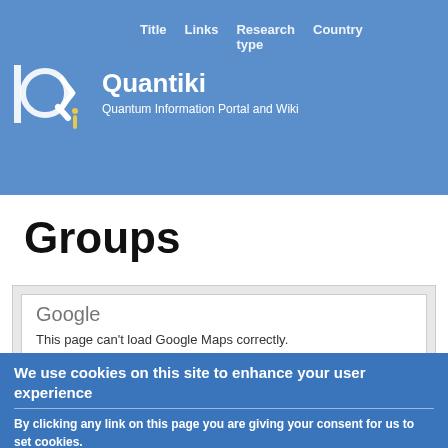Quantiki — Quantum Information Portal and Wiki — Title | Links | Research type | Country
Groups
[Figure (screenshot): Google Maps error dialog showing 'This page can't load Google Maps correctly.' with a sub-dialog 'Do you own this website?' and an OK button.]
We use cookies on this site to enhance your user experience
By clicking any link on this page you are giving your consent for us to set cookies.
No, give me more info